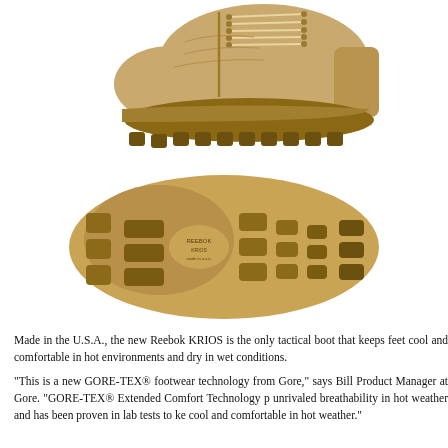[Figure (photo): Side view of a tan/coyote colored Reebok KRIOS tactical boot with laces and a chunky rubber sole]
[Figure (photo): Bottom view of the Reebok KRIOS boot sole showing tread pattern, lugs, and branding text]
Made in the U.S.A., the new Reebok KRIOS is the only tactical boot that keeps feet cool and comfortable in hot environments and dry in wet conditions.
“This is a new GORE-TEX® footwear technology from Gore,” says Bill Product Manager at Gore. “GORE-TEX® Extended Comfort Technology p unrivaled breathability in hot weather and has been proven in lab tests to ke cool and comfortable in hot weather.”